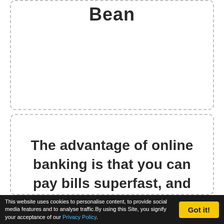Bean
The advantage of online banking is that you can pay bills superfast, and your account is automatically credited
This website uses cookies to personalise content, to provide social media features and to analyse traffic.By using this Site, you signify your acceptance of our Privacy Policy. Got it!